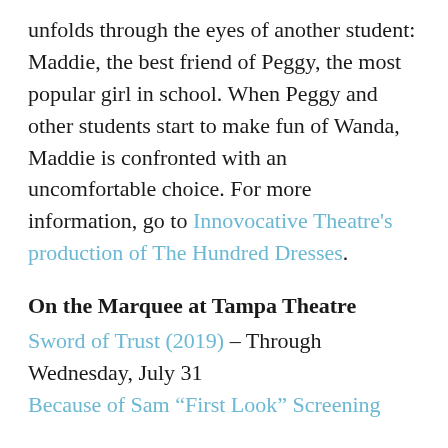unfolds through the eyes of another student: Maddie, the best friend of Peggy, the most popular girl in school. When Peggy and other students start to make fun of Wanda, Maddie is confronted with an uncomfortable choice. For more information, go to Innovocative Theatre's production of The Hundred Dresses.
On the Marquee at Tampa Theatre
Sword of Trust (2019) – Through Wednesday, July 31
Because of Sam "First Look" Screening